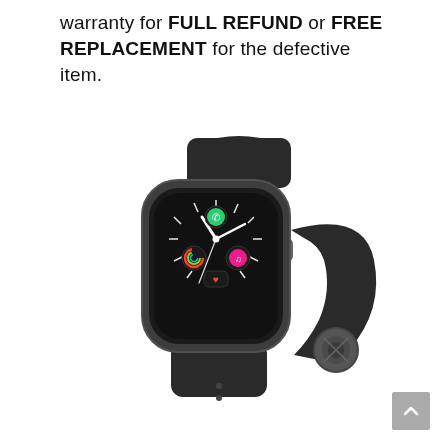warranty for FULL REFUND or FREE REPLACEMENT for the defective item.
[Figure (photo): Apple Watch with space gray aluminum case and black sport band, showing watch face with clock, phone, music, and heart rate complications on a dark display.]